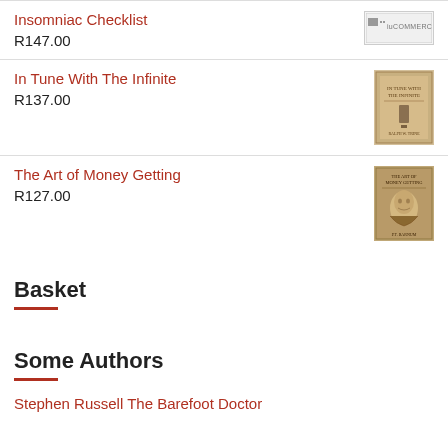Insomniac Checklist
R147.00
In Tune With The Infinite
R137.00
The Art of Money Getting
R127.00
Basket
Some Authors
Stephen Russell The Barefoot Doctor